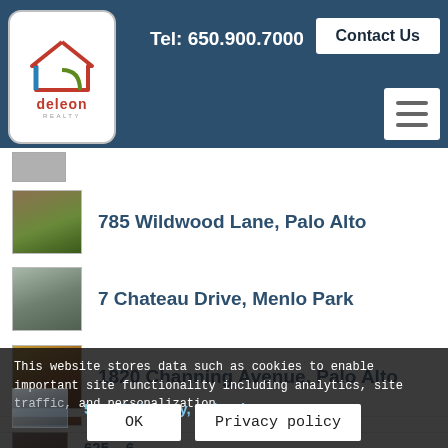[Figure (logo): DeLeon Realty logo with house icon in red, blue, green outline and company name]
Tel: 650.900.7000
Contact Us
785 Wildwood Lane, Palo Alto
7 Chateau Drive, Menlo Park
1820 Channing Avenue, Palo Alto
941 Addison Avenue, Palo Alto
551 Thain Way, Palo Alto
625 – 6…
This website stores data such as cookies to enable important site functionality including analytics, site traffic, and personalization
OK
Privacy policy